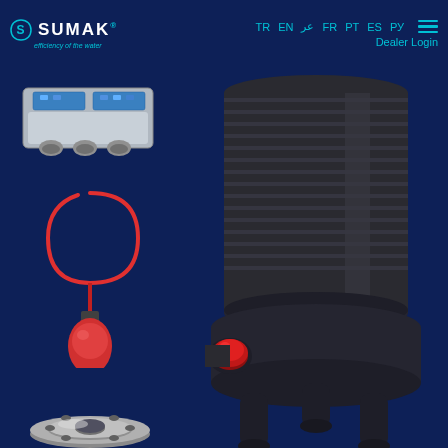SUMAK — TR EN عر FR PT ES РУ Dealer Login
[Figure (screenshot): Sumak company website screenshot showing a submersible pump product page with dark navy background. Left column shows three accessories: a grey electrical control panel/junction box with blue components, a red float switch on a cable, a stainless steel flange plate with bolt holes, and a silver impeller/cutter blade. Right side shows a large close-up of a dark grey submersible pump motor unit with a red outlet port and three leg-stand feet.]